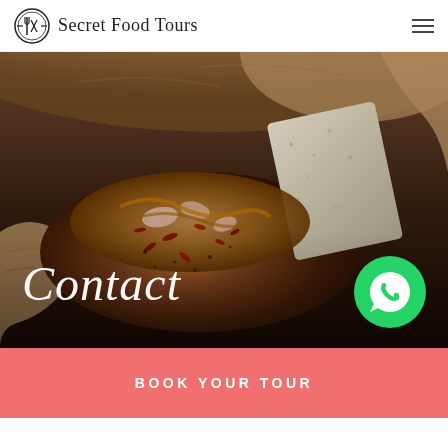Secret Food Tours
[Figure (photo): Close-up photo of hands holding a food item (appears to be a small bread/bruschetta topped with caramelized onions and spices), shown against a dark background. A WhatsApp chat button (green circle with speech bubble icon) is overlaid in the bottom-right corner of the image.]
Contact
BOOK YOUR TOUR